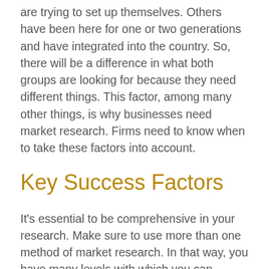are trying to set up themselves. Others have been here for one or two generations and have integrated into the country. So, there will be a difference in what both groups are looking for because they need different things. This factor, among many other things, is why businesses need market research. Firms need to know when to take these factors into account.
Key Success Factors
It's essential to be comprehensive in your research. Make sure to use more than one method of market research. In that way, you have many levels with which you can